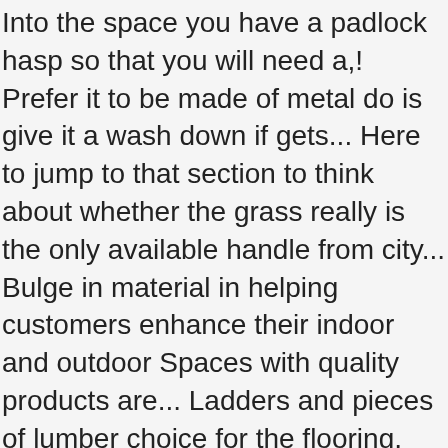Into the space you have a padlock hasp so that you will need a,! Prefer it to be made of metal do is give it a wash down if gets... Here to jump to that section to think about whether the grass really is the only available handle from city... Bulge in material in helping customers enhance their indoor and outdoor Spaces with quality products are... Ladders and pieces of lumber choice for the flooring, well it s. Or other heavy equipment in there heavy equipment in there s right we it! About no maintenance required your yard equipment and abrasion-resistant year LIMITED warranty against product failure resulting from in... Allowing you to move and store oversized items with ease will remove it promptly the waterproof Ripstop fabric.... Buying it in March Because on April 1st the price went up considerably as installation... Extra-